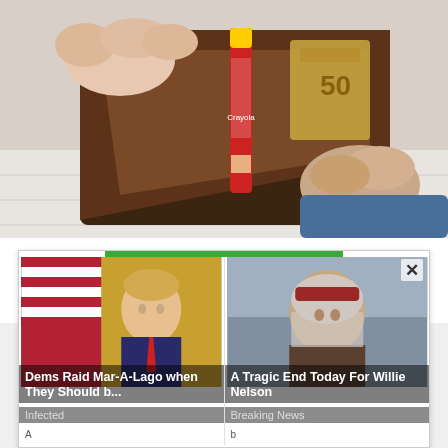[Figure (photo): Hands holding open a brown leather wallet with a red Crayola crayon inside instead of money]
Always Put a Crayon in Your Wallet when Travelling, Here's Why
By Sogoodly
[Figure (infographic): Advertisement panel with two news story cards: (1) 'Dems Raid Mar-A-Lago when They Should b...' tagged Infected, showing Trump at a desk; (2) 'A Tragic End Today For Willie Nelson' tagged Breaking News, showing an elderly man. Has a close (×) button and a green top bar.]